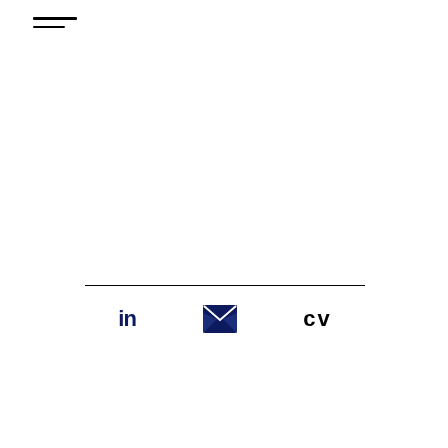[Figure (infographic): Hamburger menu icon with two horizontal lines of slightly different widths, top-left corner]
[Figure (infographic): A horizontal divider line followed by three icons centered horizontally: LinkedIn 'in' logo in dark navy, an open envelope/email icon in dark navy, and 'cv' text in dark navy bold]